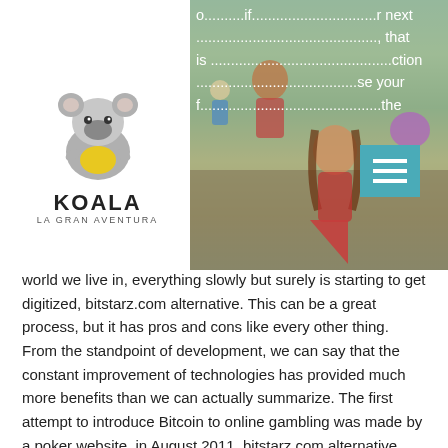[Figure (logo): Koala La Gran Aventura logo with cartoon koala holding a yellow shape]
[Figure (photo): Photo of children playing outdoors, partially overlapping with logo and text. Includes a teal menu/hamburger icon button overlay.]
o... if... next , that is ... ction ... se your f... the world we live in, everything slowly but surely is starting to get digitized, bitstarz.com alternative. This can be a great process, but it has pros and cons like every other thing. From the standpoint of development, we can say that the constant improvement of technologies has provided much more benefits than we can actually summarize. The first attempt to introduce Bitcoin to online gambling was made by a poker website, in August 2011, bitstarz.com alternative. The casino industry often refers to the monies awarded through no deposit bonuses as 'test ' money' which allows new players to get a feel for the casino, its games, and will